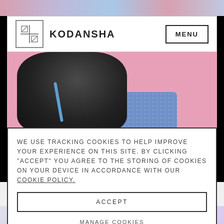[Figure (illustration): Top manga/anime illustration strip showing colorful characters]
KODANSHA | MENU
[Figure (illustration): Main manga illustration: anime character in dark jacket with blue skirt on pink background]
SUMMER HEATS UP EVEN MORE
DISCOVER SPICY DREAMS
WE USE TRACKING COOKIES TO HELP IMPROVE YOUR EXPERIENCE ON THIS SITE. BY CLICKING "ACCEPT" YOU AGREE TO THE STORING OF COOKIES ON YOUR DEVICE IN ACCORDANCE WITH OUR COOKIE POLICY.
ACCEPT
MANAGE COOKIES
[Figure (illustration): Bottom manga strip showing partial anime character illustrations]